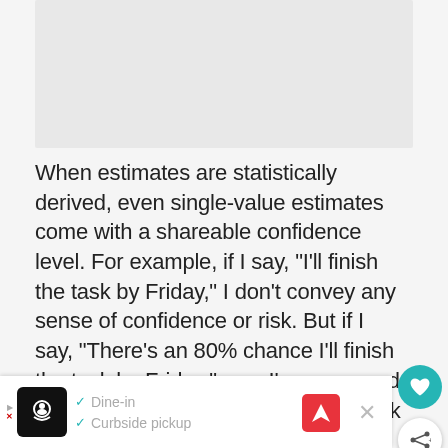[Figure (other): Gray placeholder box at top of page]
When estimates are statistically derived, even single-value estimates come with a shareable confidence level. For example, if I say, “I’ll finish the task by Friday,” I don’t convey any sense of confidence or risk. But if I say, “There’s an 80% chance I’ll finish the task by Friday,” now I’ve conveyed both a measure of confidence and risk about whether I’ll finish the task
[Figure (other): Advertisement bar at bottom: restaurant icon, Dine-in and Curbside pickup checkmarks, navigation and close buttons]